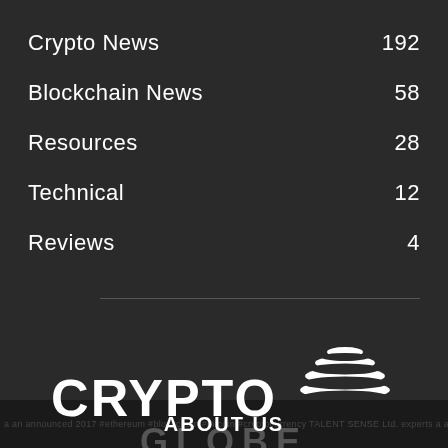Crypto News 192
Blockchain News 58
Resources 28
Technical 12
Reviews 4
[Figure (logo): CryptoGlobe logo with bold white CRYPTO text and stylized globe icon, GLOBE text underneath in gray]
ABOUT US